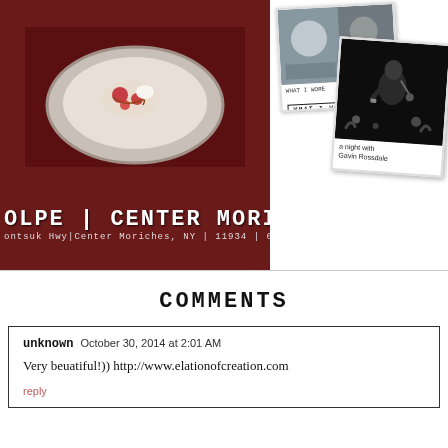[Figure (photo): Restaurant photo with food on plate over dark red/brown background, with text overlay showing 'OLPE | CENTER MORICHES' and address on Montauk Hwy, Center Moriches, NY 11934, 631.87...]
[Figure (photo): Two polaroid-style photos. First polaroid shows a crowd/person photo labeled 'WHAT I WORE'. Second polaroid shows a person (Gavin Rossdale) at microphone with handwritten caption 'a night with Gavin Rossdale'.]
COMMENTS
unknown  October 30, 2014 at 2:01 AM
Very beuatiful!)) http://www.elationofcreation.com
reply